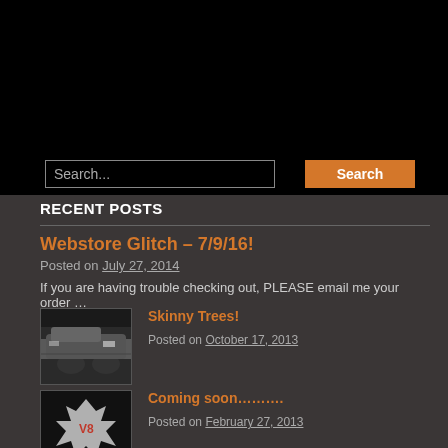Search...
Search
RECENT POSTS
Webstore Glitch – 7/9/16!
Posted on July 27, 2014
If you are having trouble checking out, PLEASE email me your order …
[Figure (photo): Thumbnail image for Skinny Trees post]
Skinny Trees!
Posted on October 17, 2013
[Figure (logo): Logo/icon thumbnail for Coming soon post with V8 and iron cross symbol]
Coming soon………..
Posted on February 27, 2013